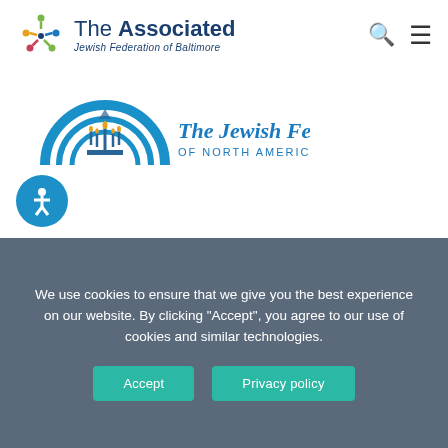[Figure (logo): The Associated Jewish Federation of Baltimore logo with colorful star-of-David-like icon and text]
[Figure (logo): The Jewish Federations of North America logo with circular rainbow menorah icon]
[Figure (logo): Accessibility button icon - blue circle with white person figure]
[Figure (logo): Charity Navigator Four Star Charity badge with compass rose icon and four stars]
GIVE WITH CONFIDENCE,
AN ORGANIZATION YOU CAN TRUST
The Associated consistently receives the highest 4-star rating from
We use cookies to ensure that we give you the best experience on our website. By clicking "Accept", you agree to our use of cookies and similar technologies.
Accept
Privacy policy